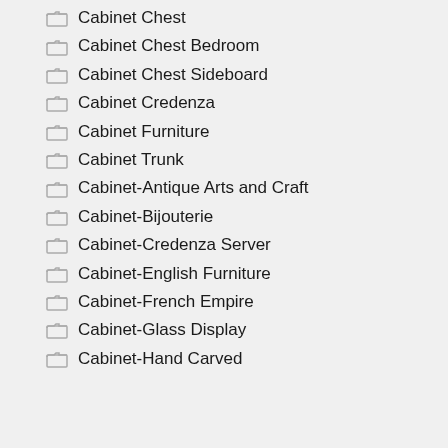Cabinet Chest
Cabinet Chest Bedroom
Cabinet Chest Sideboard
Cabinet Credenza
Cabinet Furniture
Cabinet Trunk
Cabinet-Antique Arts and Craft
Cabinet-Bijouterie
Cabinet-Credenza Server
Cabinet-English Furniture
Cabinet-French Empire
Cabinet-Glass Display
Cabinet-Hand Carved